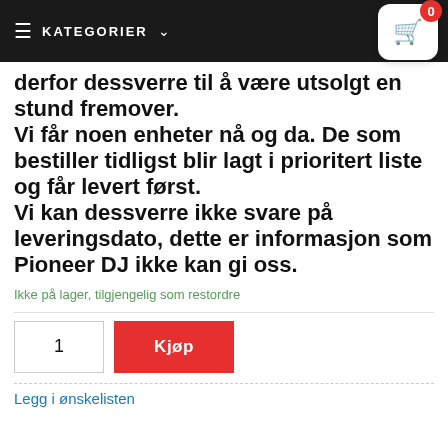≡ KATEGORIER ∨
derfor dessverre til å være utsolgt en stund fremover.
Vi får noen enheter nå og da. De som bestiller tidligst blir lagt i prioritert liste og får levert først.
Vi kan dessverre ikke svare på leveringsdato, dette er informasjon som Pioneer DJ ikke kan gi oss.
Ikke på lager, tilgjengelig som restordre
1  Kjøp
Legg i ønskelisten